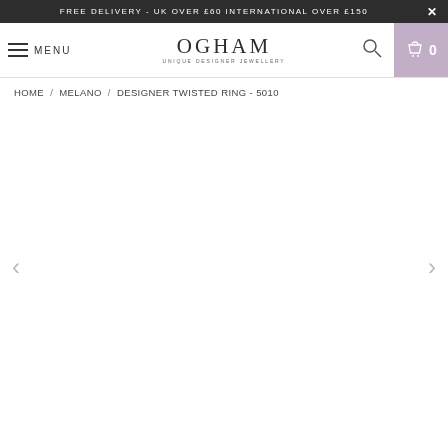FREE DELIVERY - UK OVER £60 INTERNATIONAL OVER £150
MENU | OGHAM Unique Designer Jewellery | 0
HOME / MELANO / DESIGNER TWISTED RING - 5010
[Figure (other): Product image carousel area with left and right navigation arrows, currently showing a blank/white product image area for Designer Twisted Ring - 5010]